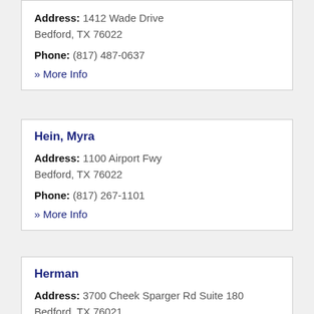Address: 1412 Wade Drive Bedford, TX 76022
Phone: (817) 487-0637
» More Info
Hein, Myra
Address: 1100 Airport Fwy Bedford, TX 76022
Phone: (817) 267-1101
» More Info
Herman
Address: 3700 Cheek Sparger Rd Suite 180 Bedford, TX 76021